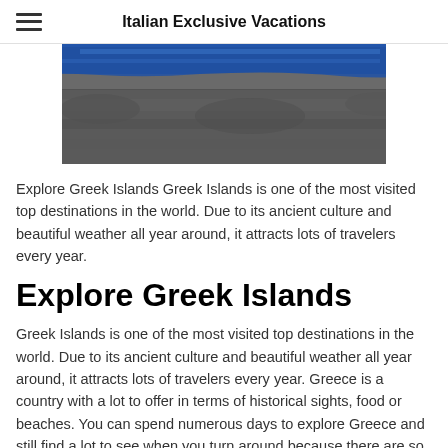Italian Exclusive Vacations
[Figure (photo): Aerial or satellite photograph of a rocky Greek island coastline with blue water and stone terrain]
Explore Greek Islands Greek Islands is one of the most visited top destinations in the world. Due to its ancient culture and beautiful weather all year around, it attracts lots of travelers every year.
Explore Greek Islands
Greek Islands is one of the most visited top destinations in the world. Due to its ancient culture and beautiful weather all year around, it attracts lots of travelers every year. Greece is a country with a lot to offer in terms of historical sights, food or beaches. You can spend numerous days to explore Greece and still find a lot to see when you turn around because there are so many